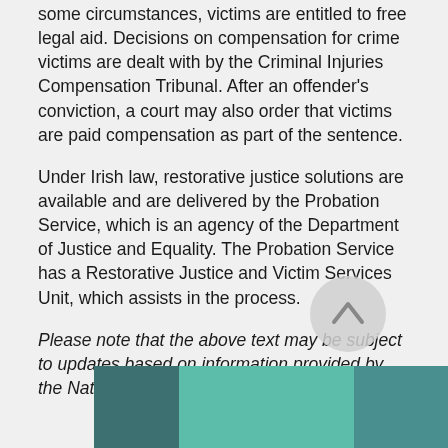some circumstances, victims are entitled to free legal aid. Decisions on compensation for crime victims are dealt with by the Criminal Injuries Compensation Tribunal. After an offender's conviction, a court may also order that victims are paid compensation as part of the sentence.
Under Irish law, restorative justice solutions are available and are delivered by the Probation Service, which is an agency of the Department of Justice and Equality. The Probation Service has a Restorative Justice and Victim Services Unit, which assists in the process.
Please note that the above text may be subject to updates based on information provided by the National Point of Contact
[Figure (other): Scroll-to-top button (circular grey button with upward chevron) and a decorative footer bar with three colored segments: dark teal, light teal/green, and medium teal.]